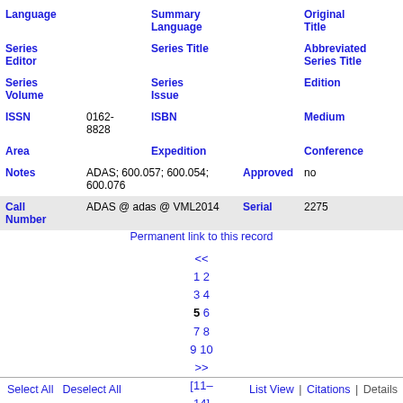| Language |  | Summary Language |  | Original Title |  |
| Series Editor |  | Series Title |  | Abbreviated Series Title |  |
| Series Volume |  | Series Issue |  | Edition |  |
| ISSN | 0162-8828 | ISBN |  | Medium |  |
| Area |  | Expedition |  | Conference |  |
| Notes | ADAS; 600.057; 600.054; 600.076 | Approved | no |  |  |
| Call Number | ADAS @ adas @ VML2014 | Serial | 2275 |  |  |
Permanent link to this record
<<
1 2
3 4
5 6
7 8
9 10
>>
[11–14]
Select All   Deselect All       List View | Citations | Details